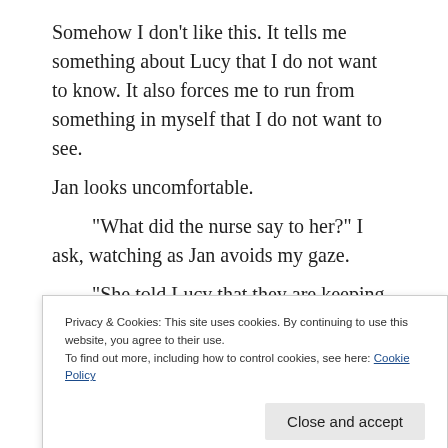Somehow I don't like this. It tells me something about Lucy that I do not want to know. It also forces me to run from something in myself that I do not want to see.
Jan looks uncomfortable.
“What did the nurse say to her?” I ask, watching as Jan avoids my gaze.
“She told Lucy that they are keeping you in her room,” she says, finally looking at me.
I am disappointed and satisfied by this.
Privacy & Cookies: This site uses cookies. By continuing to use this website, you agree to their use.
To find out more, including how to control cookies, see here: Cookie Policy
Close and accept
... p g y g ... il ... l ... i ... th ... i ...